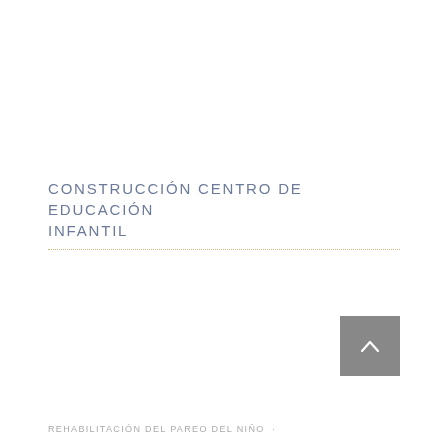CONSTRUCCIÓN CENTRO DE EDUCACIÓN INFANTIL
[Figure (other): Navigation button with upward chevron arrow on grey square background]
REHABILITACIÓN DEL PAREO DEL NIÑO...